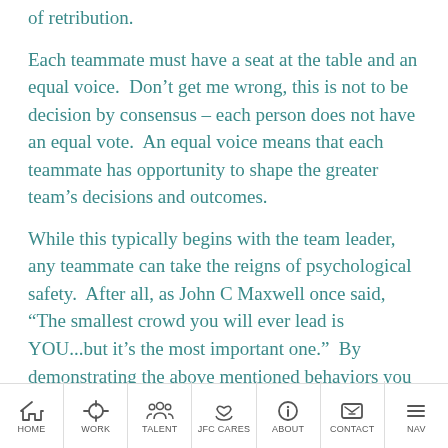of retribution.
Each teammate must have a seat at the table and an equal voice.  Don’t get me wrong, this is not to be decision by consensus – each person does not have an equal vote.  An equal voice means that each teammate has opportunity to shape the greater team’s decisions and outcomes.
While this typically begins with the team leader, any teammate can take the reigns of psychological safety.  After all, as John C Maxwell once said, “The smallest crowd you will ever lead is YOU...but it’s the most important one.”  By demonstrating the above mentioned behaviors you can influence others on the team.  No matter your rank/title, think about what
HOME  WORK  TALENT  JFC CARES  ABOUT  CONTACT  NAV